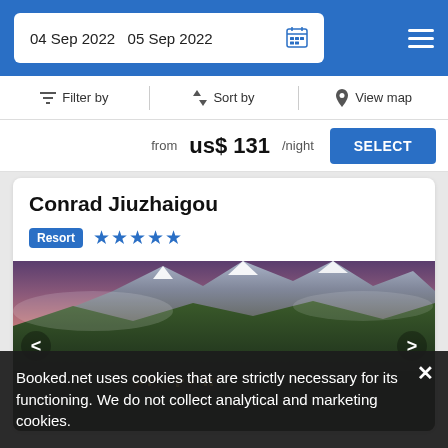04 Sep 2022  05 Sep 2022
Filter by  Sort by  View map
from us$ 131/night  SELECT
Conrad Jiuzhaigou
Resort  ★★★★★
[Figure (photo): Panoramic mountain landscape at dusk with purple-pink sky, snow-capped peaks in background, dark green forested hills, and illuminated resort buildings at base]
Booked.net uses cookies that are strictly necessary for its functioning. We do not collect analytical and marketing cookies.